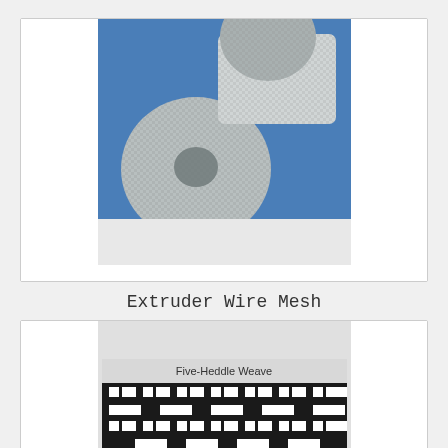[Figure (photo): Photo of extruder wire mesh filter discs — several round and rectangular metal wire mesh pieces on a blue background]
Extruder Wire Mesh
[Figure (illustration): Diagram of Five-Heddle Weave pattern showing a black and white checkerboard-like weave structure with interlocking horizontal and vertical elements]